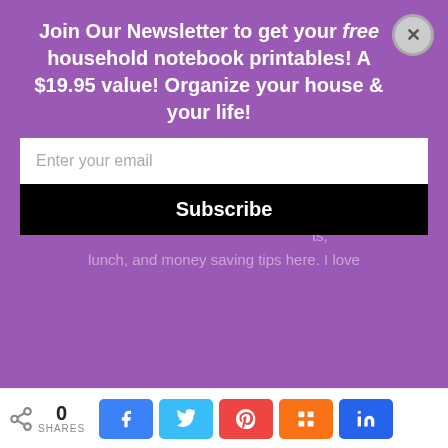[Figure (screenshot): Purple newsletter signup popup overlay on a blog page. Shows 'Join Our Newsletter to get your free household notebook printables! A $19.95 value! Organize your house & your life!' with an email input field and Subscribe button. A close (X) button is in the top right.]
my front porch, my family and decorating ideas too! Not necessarily in that order! Grab your favorite drink and hang out with me!
[Figure (photo): 2021 Holiday Gift image with red gift boxes and decorations]
0 SHARES
[Figure (infographic): Social share bar with Facebook, Twitter, Pinterest, Mix, and LinkedIn buttons]